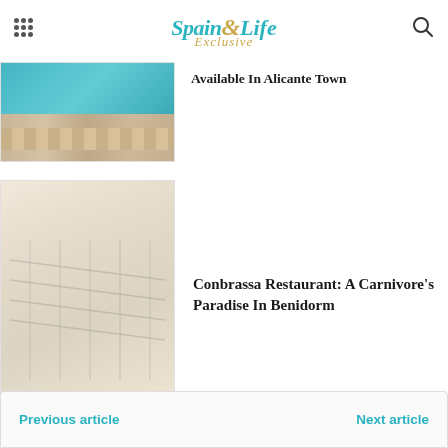[Figure (logo): Spain Life Exclusive logo with teal and gold text]
Available In Alicante Town
[Figure (photo): Swimming pool edge with teal water and stone/ceramic tile border]
Conbrassa Restaurant: A Carnivore’s Paradise In Benidorm
[Figure (photo): Grilled food on a BBQ grill, faded/light image]
Previous article
Next article